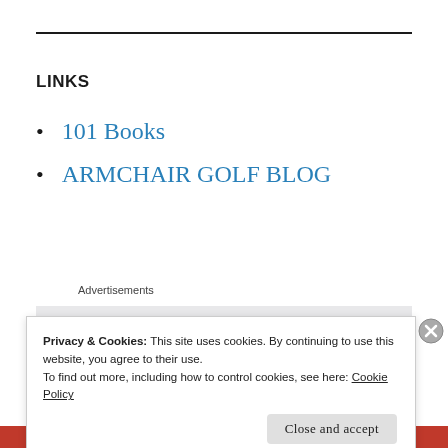LINKS
101 Books
ARMCHAIR GOLF BLOG
Advertisements
Privacy & Cookies: This site uses cookies. By continuing to use this website, you agree to their use.
To find out more, including how to control cookies, see here: Cookie Policy
Close and accept